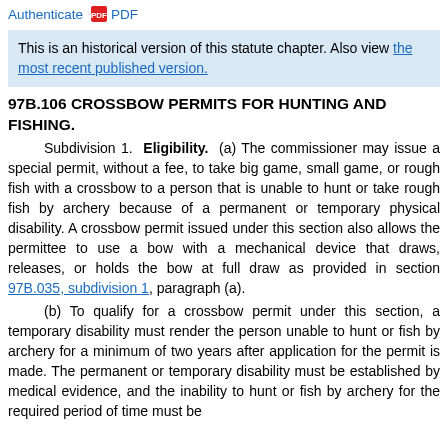Authenticate PDF
This is an historical version of this statute chapter. Also view the most recent published version.
97B.106 CROSSBOW PERMITS FOR HUNTING AND FISHING.
Subdivision 1. Eligibility. (a) The commissioner may issue a special permit, without a fee, to take big game, small game, or rough fish with a crossbow to a person that is unable to hunt or take rough fish by archery because of a permanent or temporary physical disability. A crossbow permit issued under this section also allows the permittee to use a bow with a mechanical device that draws, releases, or holds the bow at full draw as provided in section 97B.035, subdivision 1, paragraph (a).
(b) To qualify for a crossbow permit under this section, a temporary disability must render the person unable to hunt or fish by archery for a minimum of two years after application for the permit is made. The permanent or temporary disability must be established by medical evidence, and the inability to hunt or fish by archery for the required period of time must be